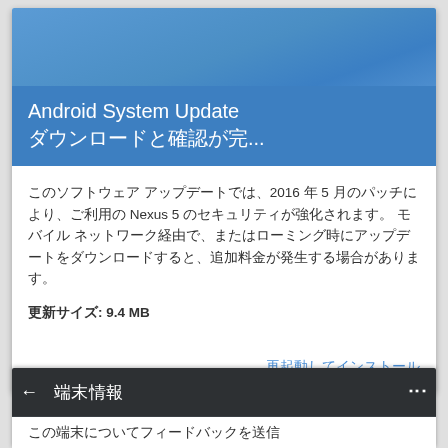Android System Update ダウンロードと確認が完...
このソフトウェア アップデートでは、2016 年 5 月のパッチにより、ご利用の Nexus 5 のセキュリティが強化されます。 モバイル ネットワーク経由で、またはローミング時にアップデートをダウンロードすると、追加料金が発生する場合があります。
更新サイズ: 9.4 MB
再起動してインストール
← 端末情報 ⋮
この端末についてフィードバックを送信